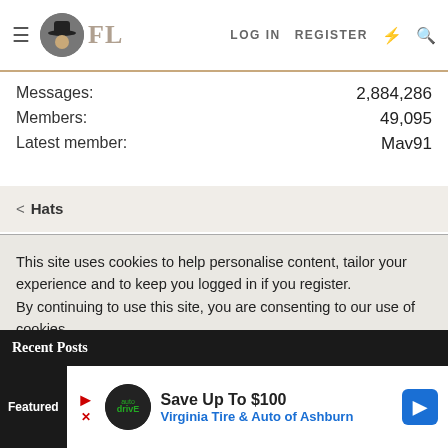FL  LOG IN  REGISTER
Messages: 2,884,286
Members: 49,095
Latest member: Mav91
< Hats
This site uses cookies to help personalise content, tailor your experience and to keep you logged in if you register.
By continuing to use this site, you are consenting to our use of cookies.
✓ ACCEPT    LEARN MORE...
Recent Posts
Featured  Save Up To $100  Virginia Tire & Auto of Ashburn